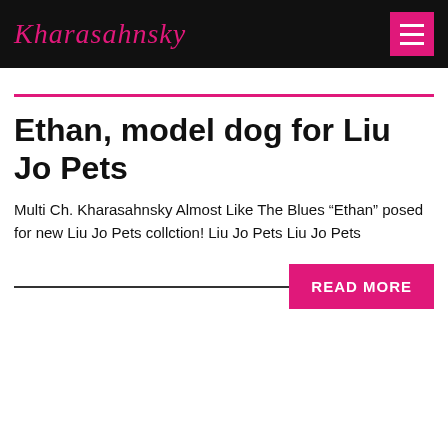Kharasahnsky
Ethan, model dog for Liu Jo Pets
Multi Ch. Kharasahnsky Almost Like The Blues “Ethan” posed for new Liu Jo Pets collction! Liu Jo Pets Liu Jo Pets
READ MORE